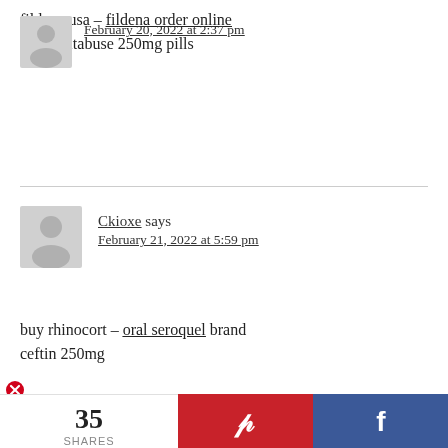February 20, 2022 at 2:37 pm
fildena usa – fildena order online order antabuse 250mg pills
Ckioxe says
February 21, 2022 at 5:59 pm
buy rhinocort – oral seroquel brand ceftin 250mg
[Figure (other): Red circle with X close/delete icon]
35 SHARES
[Figure (logo): Pinterest share button (red background with P icon)]
[Figure (logo): Facebook share button (blue background with f icon)]